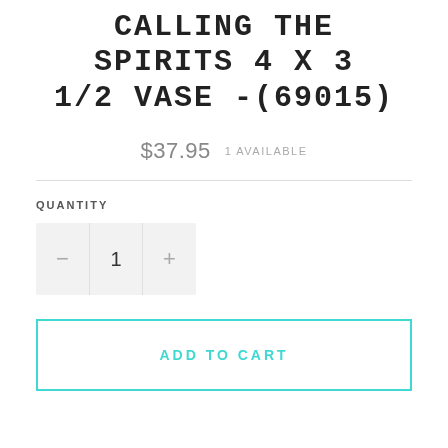CALLING THE SPIRITS 4 X 3 1/2 VASE -(69015)
$37.95  1 AVAILABLE
QUANTITY
− 1 +
ADD TO CART